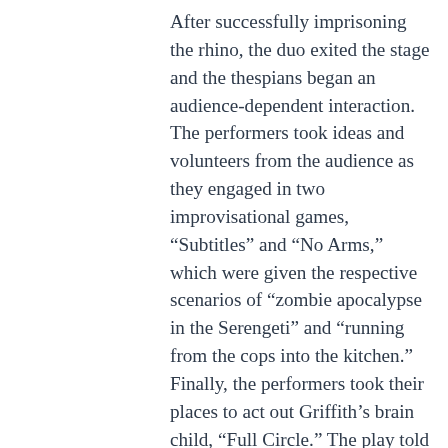After successfully imprisoning the rhino, the duo exited the stage and the thespians began an audience-dependent interaction. The performers took ideas and volunteers from the audience as they engaged in two improvisational games, “Subtitles” and “No Arms,” which were given the respective scenarios of “zombie apocalypse in the Serengeti” and “running from the cops into the kitchen.” Finally, the performers took their places to act out Griffith’s brain child, “Full Circle.” The play told the tale of a master of nerdy pick-up lines, Sir Cumference, and the object of his affection, Princess Sigma. The Princess has no desire to be with Sir Cumference, but her parents arranged a marriage between the two, so the Princess disguised herself as Queen Red Box from the land of LON-CAPA. The disguise, however, ultimately backfires and